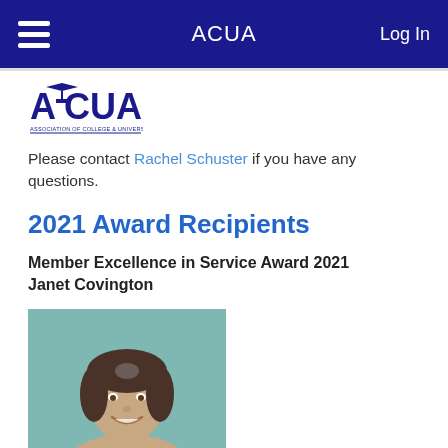ACUA   Log In
[Figure (logo): ACUA logo - Association of College & University Auditors]
Please contact Rachel Schuster if you have any questions.
2021 Award Recipients
Member Excellence in Service Award 2021
Janet Covington
[Figure (photo): Headshot photo of Janet Covington, a woman with shoulder-length dark hair, smiling, against a teal/green background]